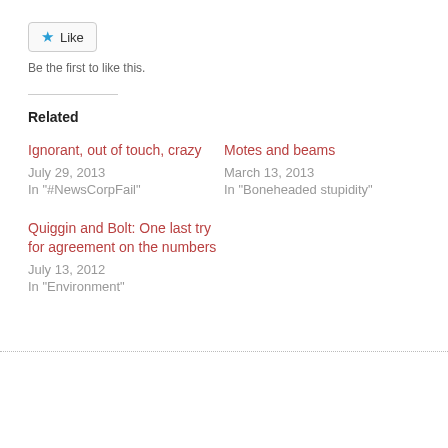[Figure (other): Like button widget with a blue star icon and 'Like' text, rounded rectangle border]
Be the first to like this.
Related
Ignorant, out of touch, crazy
July 29, 2013
In "#NewsCorpFail"
Motes and beams
March 13, 2013
In "Boneheaded stupidity"
Quiggin and Bolt: One last try for agreement on the numbers
July 13, 2012
In "Environment"